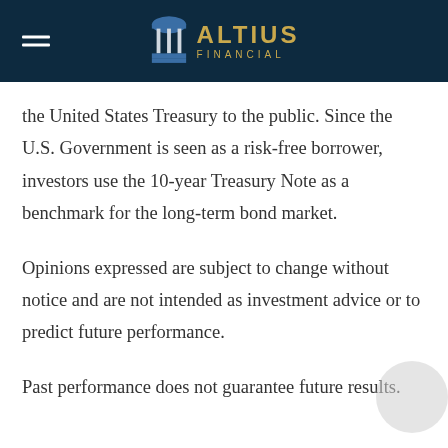ALTIUS FINANCIAL
the United States Treasury to the public. Since the U.S. Government is seen as a risk-free borrower, investors use the 10-year Treasury Note as a benchmark for the long-term bond market.
Opinions expressed are subject to change without notice and are not intended as investment advice or to predict future performance.
Past performance does not guarantee future results.